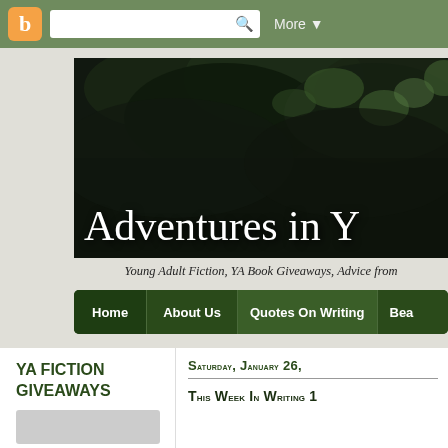[Figure (screenshot): Blogger navigation top bar with orange blogger icon, search box, and More dropdown button on green background]
[Figure (photo): Dark forest/foliage banner image with overlaid text 'Adventures in Y...' in white serif font]
Young Adult Fiction, YA Book Giveaways, Advice from
[Figure (screenshot): Dark green navigation bar with menu items: Home, About Us, Quotes On Writing, Bea...]
YA FICTION GIVEAWAYS
Saturday, January 26,
This Week In Writing 1